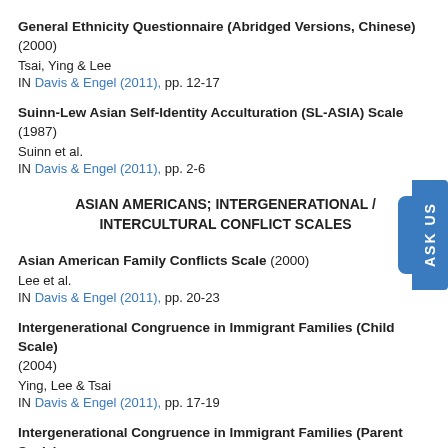General Ethnicity Questionnaire (Abridged Versions, Chinese) (2000)
Tsai, Ying & Lee
IN Davis & Engel (2011), pp. 12-17
Suinn-Lew Asian Self-Identity Acculturation (SL-ASIA) Scale (1987)
Suinn et al.
IN Davis & Engel (2011), pp. 2-6
ASIAN AMERICANS; INTERGENERATIONAL / INTERCULTURAL CONFLICT SCALES
Asian American Family Conflicts Scale (2000)
Lee et al.
IN Davis & Engel (2011), pp. 20-23
Intergenerational Congruence in Immigrant Families (Child Scale) (2004)
Ying, Lee & Tsai
IN Davis & Engel (2011), pp. 17-19
Intergenerational Congruence in Immigrant Families (Parent Scale) (2004)